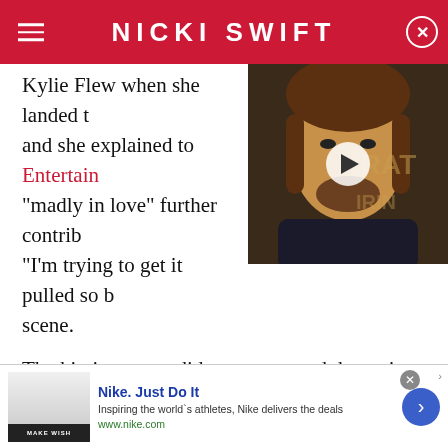NICKI SWIFT
Kylie Flew when she landed t... and she explained to Entertain... "madly in love" further contrib... "I'm trying to get it pulled so b... scene.
[Figure (photo): Video thumbnail showing a man (Johnny Depp) with a play button overlay, wearing dark clothing, in front of a Pirates of the Caribbean backdrop]
The kissing scene did get cut — and the entire film later got scrapped. Siwa told Variety, "It wasn't the one."
RECOMMENDED
[Figure (photo): Two recommended article thumbnail images side by side]
[Figure (infographic): Nike advertisement banner: 'Nike. Just Do It' - Inspiring the world's athletes, Nike delivers the deals - www.nike.com]